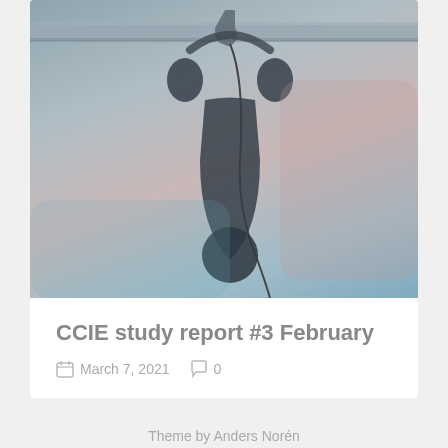[Figure (photo): Photo of headphones hanging from a metal rail/bar, with a cord dangling. The image has a muted, desaturated blue-grey tone.]
CCIE study report #3 February
March 7, 2021   0
Theme by Anders Norén